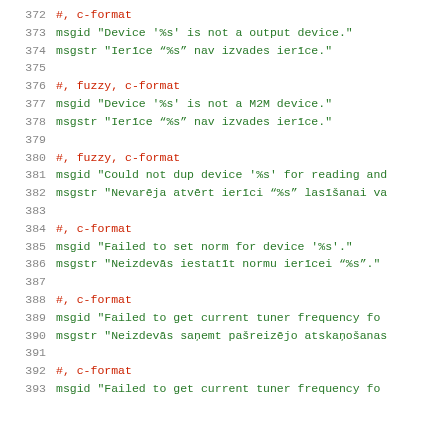372  #, c-format
373  msgid "Device '%s' is not a output device."
374  msgstr "Ierīce “%s” nav izvades ierīce."
375
376  #, fuzzy, c-format
377  msgid "Device '%s' is not a M2M device."
378  msgstr "Ierīce “%s” nav izvades ierīce."
379
380  #, fuzzy, c-format
381  msgid "Could not dup device '%s' for reading and...
382  msgstr "Nevarēja atvērt ierīci “%s” lasīšanai va...
383
384  #, c-format
385  msgid "Failed to set norm for device '%s'."
386  msgstr "Neizdevās iestatīt normu ierīcei “%s”."
387
388  #, c-format
389  msgid "Failed to get current tuner frequency fo...
390  msgstr "Neizdevās saņemt pašreizējo atskaņošanas...
391
392  #, c-format
393  msgid "Failed to get current tuner frequency fo...